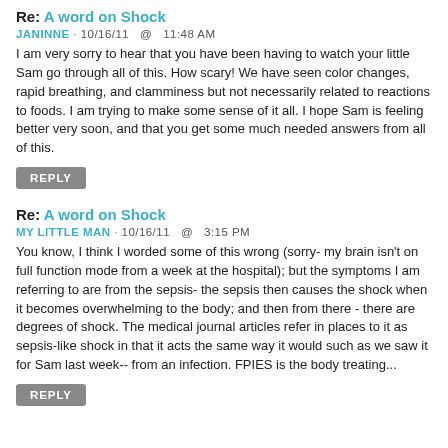Re: A word on Shock
JANINNE · 10/16/11  @  11:48 AM
I am very sorry to hear that you have been having to watch your little Sam go through all of this. How scary! We have seen color changes, rapid breathing, and clamminess but not necessarily related to reactions to foods. I am trying to make some sense of it all. I hope Sam is feeling better very soon, and that you get some much needed answers from all of this.
REPLY
Re: A word on Shock
MY LITTLE MAN · 10/16/11  @  3:15 PM
You know, I think I worded some of this wrong (sorry- my brain isn't on full function mode from a week at the hospital); but the symptoms I am referring to are from the sepsis- the sepsis then causes the shock when it becomes overwhelming to the body; and then from there - there are degrees of shock. The medical journal articles refer in places to it as sepsis-like shock in that it acts the same way it would such as we saw it for Sam last week-- from an infection. FPIES is the body treating...
REPLY